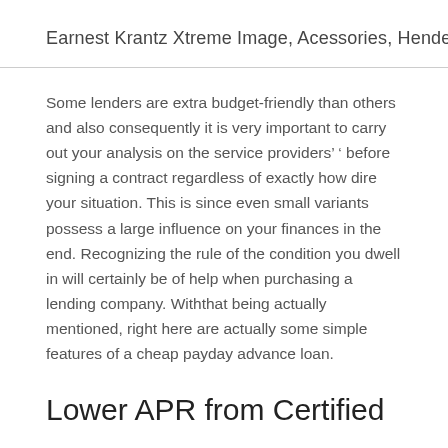Earnest Krantz Xtreme Image, Acessories, Henderson
Some lenders are extra budget-friendly than others and also consequently it is very important to carry out your analysis on the service providers’ ’ before signing a contract regardless of exactly how dire your situation. This is since even small variants possess a large influence on your finances in the end. Recognizing the rule of the condition you dwell in will certainly be of help when purchasing a lending company. Withthat being actually mentioned, right here are actually some simple features of a cheap payday advance loan.
Lower APR from Certified